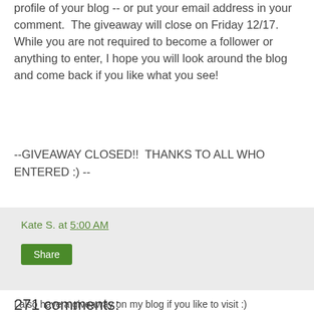profile of your blog -- or put your email address in your comment.  The giveaway will close on Friday 12/17.  While you are not required to become a follower or anything to enter, I hope you will look around the blog and come back if you like what you see!
--GIVEAWAY CLOSED!!  THANKS TO ALL WHO ENTERED :) --
Kate S. at 5:00 AM
Share
271 comments:
Joanna @ ShapeMoth December 13, 2010 at 5:33 AM
I will try my luck :) Thanks for the giveaway! My favourite Christmas cake (we didnt prepare any cookies at home) is a cheesecake :)
I also have a giveaway on my blog if you like to visit :)